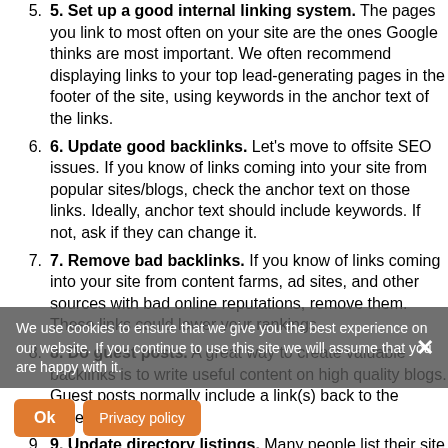5. Set up a good internal linking system. The pages you link to most often on your site are the ones Google thinks are most important. We often recommend displaying links to your top lead-generating pages in the footer of the site, using keywords in the anchor text of the links.
6. Update good backlinks. Let's move to offsite SEO issues. If you know of links coming into your site from popular sites/blogs, check the anchor text on those links. Ideally, anchor text should include keywords. If not, ask if they can change it.
7. Remove bad backlinks. If you know of links coming into your site from content farms, ad sites, and other sources with bad online reputations, remove them. These links could lower your rankings.
8. Do guest posts. A great way to create valuable backlinks is to write useful content on high quality blogs. Guest posts normally include a link(s) back to the writer's site.
9. Update directory listings. Many people list their site